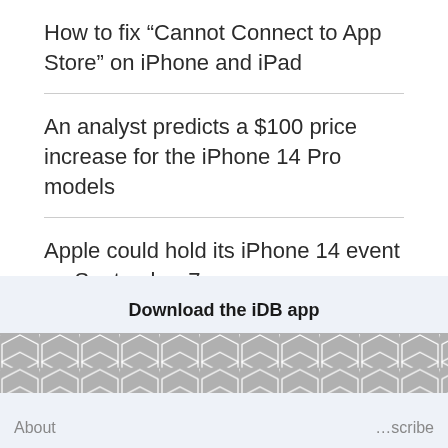How to fix “Cannot Connect to App Store” on iPhone and iPad
An analyst predicts a $100 price increase for the iPhone 14 Pro models
Apple could hold its iPhone 14 event on September 7
UK’s EE becomes the first wireless carrier to offer the Apple One bundle as a free perk
Download the iDB app
About ... scribe